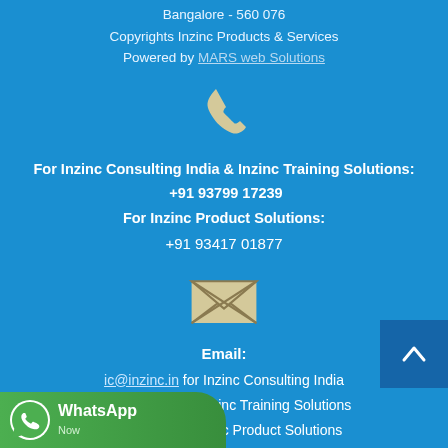Bangalore - 560 076
Copyrights Inzinc Products & Services
Powered by MARS web Solutions
[Figure (illustration): Phone handset icon in beige/cream color on blue background]
For Inzinc Consulting India & Inzinc Training Solutions: +91 93799 17239
For Inzinc Product Solutions:
+91 93417 01877
[Figure (illustration): Envelope/email icon in beige/cream color on blue background]
Email:
ic@inzinc.in for Inzinc Consulting India
its@inzinc.in for Inzinc Training Solutions
...inzinc.in for Inzinc Product Solutions
[Figure (illustration): WhatsApp Now badge in green at bottom left]